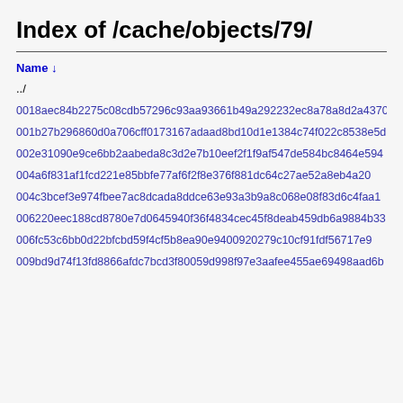Index of /cache/objects/79/
../
0018aec84b2275c08cdb57296c93aa93661b49a292232ec8a78a8d2a43704
001b27b296860d0a706cff0173167adaad8bd10d1e1384c74f022c8538e5d
002e31090e9ce6bb2aabeda8c3d2e7b10eef2f1f9af547de584bc8464e594
004a6f831af1fcd221e85bbfe77af6f2f8e376f881dc64c27ae52a8eb4a20
004c3bcef3e974fbee7ac8dcada8ddce63e93a3b9a8c068e08f83d6c4faa1
006220eec188cd8780e7d0645940f36f4834cec45f8deab459db6a9884b33
006fc53c6bb0d22bfcbd59f4cf5b8ea90e9400920279c10cf91fdf56717e9
009bd9d74f13fd8866afdc7bcd3f80059d998f97e3aafee455ae69498aad6b